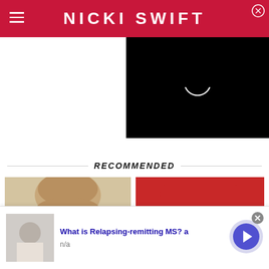NICKI SWIFT
[Figure (screenshot): Video player overlay with black background and white loading spinner arc]
RECOMMENDED
[Figure (photo): Close-up of person with light brown hair (left thumbnail)]
[Figure (photo): Close-up of person wearing red backward cap with tattoo on forehead (right thumbnail)]
[Figure (screenshot): Ad banner: person crying, 'What is Relapsing-remitting MS? a', n/a, with arrow button]